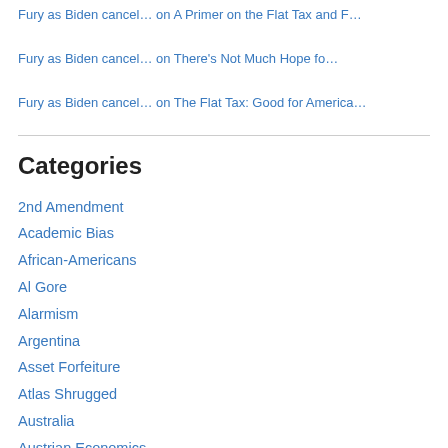Fury as Biden cancel… on A Primer on the Flat Tax and F…
Fury as Biden cancel… on There's Not Much Hope fo…
Fury as Biden cancel… on The Flat Tax: Good for America…
Categories
2nd Amendment
Academic Bias
African-Americans
Al Gore
Alarmism
Argentina
Asset Forfeiture
Atlas Shrugged
Australia
Austrian Economics